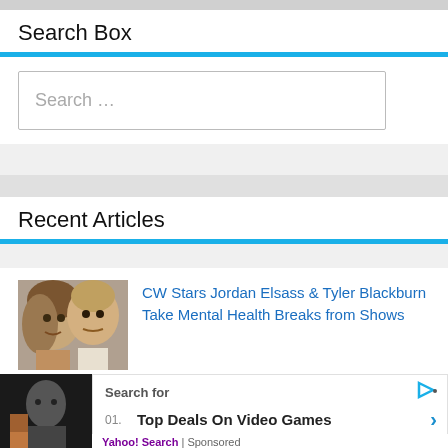Search Box
Search …
Recent Articles
CW Stars Jordan Elsass & Tyler Blackburn Take Mental Health Breaks from Shows
[Figure (photo): Two young men close-up photo]
[Figure (photo): Dark thumbnail image]
Search for
01. Top Deals On Video Games
02. Video Game Deals This Week
Yahoo! Search | Sponsored